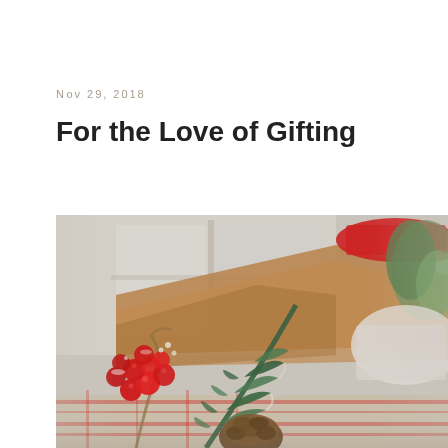Nov 29, 2018
For the Love of Gifting
[Figure (photo): Close-up photograph of Christmas holiday decorations on a table: red holly berries, pine branch with pinecone in foreground, wooden surface with red ribbon and wrapped gifts in background, plaid cloth visible, soft blurred winter window backdrop.]